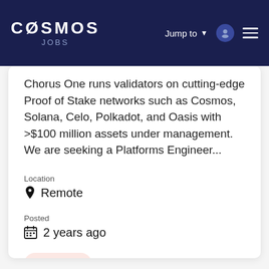COSMOS JOBS — Jump to
Chorus One runs validators on cutting-edge Proof of Stake networks such as Cosmos, Solana, Celo, Polkadot, and Oasis with >$100 million assets under management. We are seeking a Platforms Engineer...
Location
Remote
Posted
2 years ago
Full Time